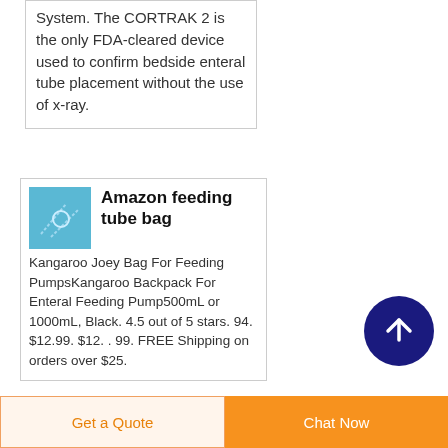System. The CORTRAK 2 is the only FDA-cleared device used to confirm bedside enteral tube placement without the use of x-ray.
Amazon feeding tube bag
Kangaroo Joey Bag For Feeding PumpsKangaroo Backpack For Enteral Feeding Pump500mL or 1000mL, Black. 4.5 out of 5 stars. 94. $12.99. $12. . 99. FREE Shipping on orders over $25.
[Figure (other): Blue product image thumbnail for Amazon feeding tube bag]
[Figure (other): Dark blue circular scroll-to-top button with upward arrow icon]
Get a Quote
Chat Now